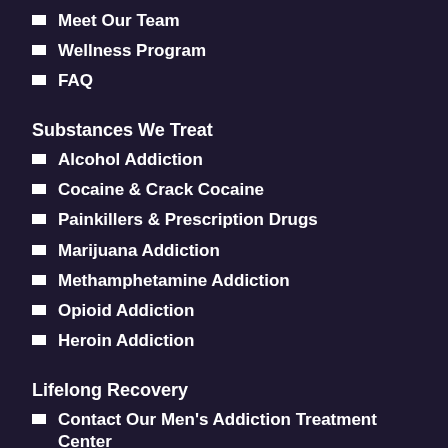Meet Our Team
Wellness Program
FAQ
Substances We Treat
Alcohol Addiction
Cocaine & Crack Cocaine
Painkillers & Prescription Drugs
Marijuana Addiction
Methamphetamine Addiction
Opioid Addiction
Heroin Addiction
Lifelong Recovery
Contact Our Men's Addiction Treatment Center
Gallery
Testimonials